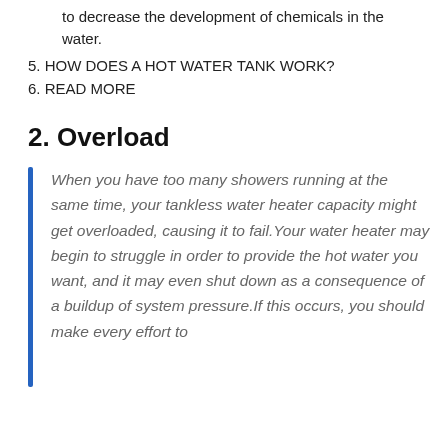to decrease the development of chemicals in the water.
5. HOW DOES A HOT WATER TANK WORK?
6. READ MORE
2. Overload
When you have too many showers running at the same time, your tankless water heater capacity might get overloaded, causing it to fail.Your water heater may begin to struggle in order to provide the hot water you want, and it may even shut down as a consequence of a buildup of system pressure.If this occurs, you should make every effort to